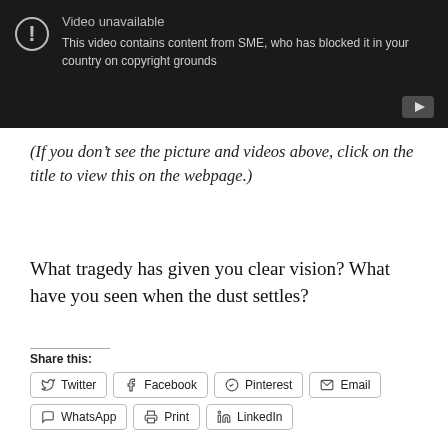[Figure (screenshot): YouTube video unavailable screen with dark background. Shows an exclamation mark in a circle icon and text: 'Video unavailable — This video contains content from SME, who has blocked it in your country on copyright grounds.' YouTube play button icon in bottom right corner.]
(If you don't see the picture and videos above, click on the title to view this on the webpage.)
What tragedy has given you clear vision? What have you seen when the dust settles?
Share this:
Twitter  Facebook  Pinterest  Email  WhatsApp  Print  LinkedIn